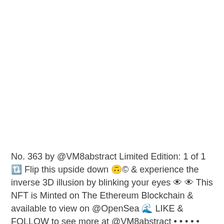No. 363 by @VM8abstract Limited Edition: 1 of 1 🔁 Flip this upside down 🙃© & experience the inverse 3D illusion by blinking your eyes 👁 👁 This NFT is Minted on The Ethereum Blockchain & available to view on @OpenSea 🌊 LIKE & FOLLOW to see more at @VM8abstract • • • • • […]